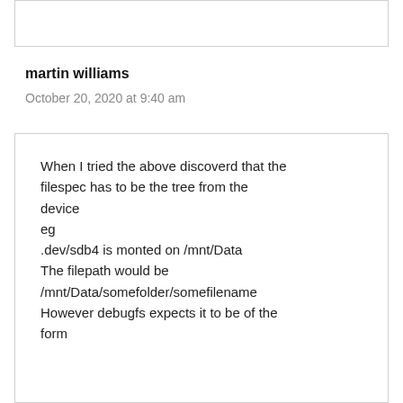martin williams
October 20, 2020 at 9:40 am
When I tried the above discoverd that the filespec has to be the tree from the device
eg
.dev/sdb4 is monted on /mnt/Data
The filepath would be /mnt/Data/somefolder/somefilename
However debugfs expects it to be of the form